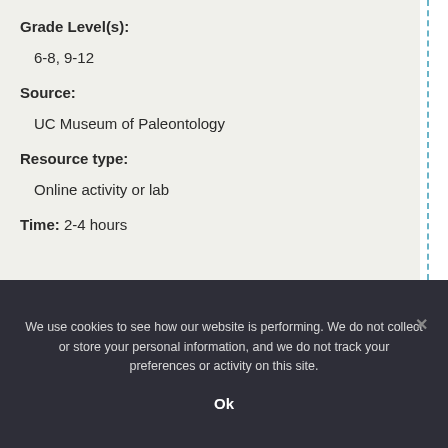Grade Level(s):
6-8, 9-12
Source:
UC Museum of Paleontology
Resource type:
Online activity or lab
Time: 2-4 hours
We use cookies to see how our website is performing. We do not collect or store your personal information, and we do not track your preferences or activity on this site.
Ok